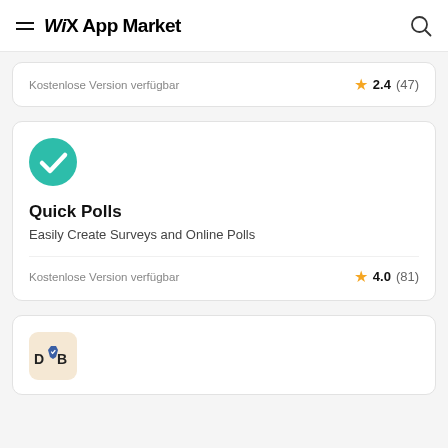WiX App Market
Kostenlose Version verfügbar  ★ 2.4 (47)
[Figure (logo): Teal circle with white checkmark — Quick Polls app icon]
Quick Polls
Easily Create Surveys and Online Polls
Kostenlose Version verfügbar  ★ 4.0 (81)
[Figure (logo): DNB app icon — beige/cream rounded square with D, shield, B text]